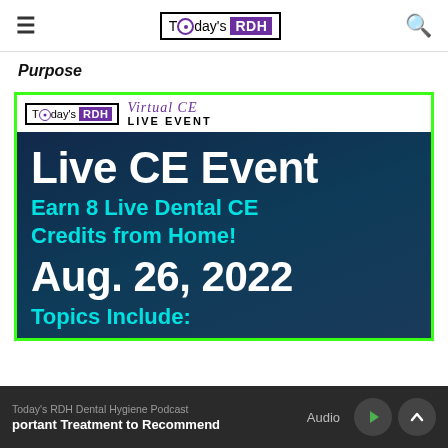Today's RDH
Purpose
[Figure (screenshot): Today's RDH Virtual CE Live Event advertisement showing 'Live CE Event', 'Earn 8 Live Dental CE Credits from Home!', 'Aug. 26, 2022', 'Topics Include:' on a dark blue background with green border]
Today's RDH Dental Hygiene Podcast · portant Treatment to Recommend · Audio